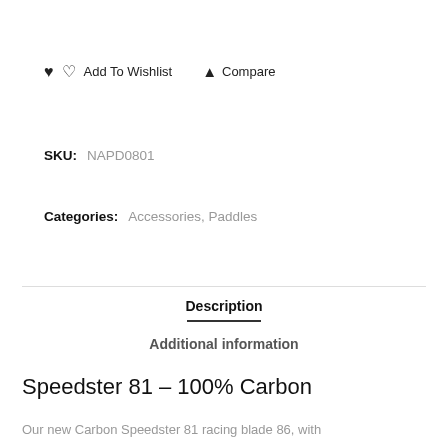♥ ♡  Add To Wishlist   ▲ Compare
SKU:  NAPD0801
Categories:  Accessories, Paddles
Description
Additional information
Speedster 81 – 100% Carbon
Our new Carbon Speedster 81 racing blade 86, with